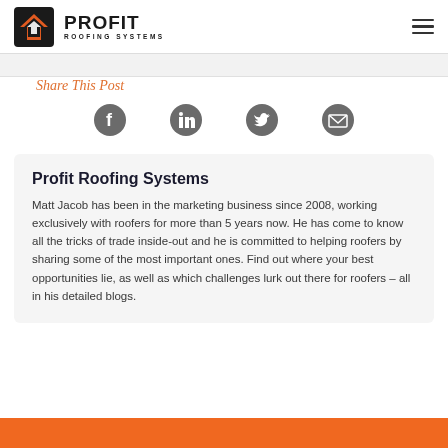PROFIT ROOFING SYSTEMS
Share This Post
[Figure (other): Social share icons: Facebook, LinkedIn, Twitter, Email]
Profit Roofing Systems
Matt Jacob has been in the marketing business since 2008, working exclusively with roofers for more than 5 years now. He has come to know all the tricks of trade inside-out and he is committed to helping roofers by sharing some of the most important ones. Find out where your best opportunities lie, as well as which challenges lurk out there for roofers – all in his detailed blogs.
[Figure (other): Orange banner at bottom of page]